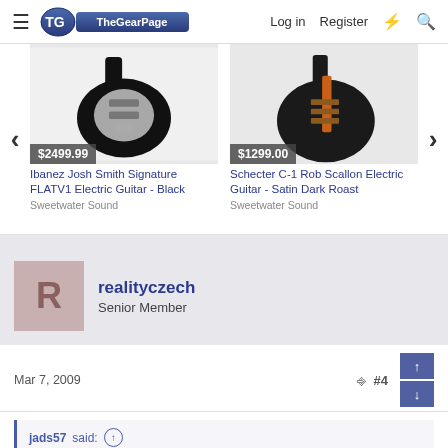The Gear Page — Log in | Register
[Figure (screenshot): Product listing: Ibanez Josh Smith Signature FLATV1 Electric Guitar - Black, $2499.99, Sweetwater Sound]
[Figure (screenshot): Product listing: Schecter C-1 Rob Scallon Electric Guitar - Satin Dark Roast, $1299.00, Sweetwater Sound]
Ibanez Josh Smith Signature FLATV1 Electric Guitar - Black
Sweetwater Sound
Schecter C-1 Rob Scallon Electric Guitar - Satin Dark Roast
Sweetwater Sound
realityczech
Senior Member
Mar 7, 2009
#4
jads57 said:
Check out Mondo Slugs (Gearpage member) version of "Had to Cry